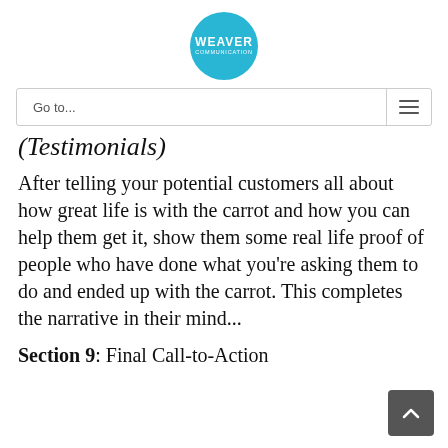[Figure (logo): Weaver Communication logo — circular teal badge with white text]
Go to...
(Testimonials)
After telling your potential customers all about how great life is with the carrot and how you can help them get it, show them some real life proof of people who have done what you’re asking them to do and ended up with the carrot. This completes the narrative in their mind...
Section 9: Final Call-to-Action